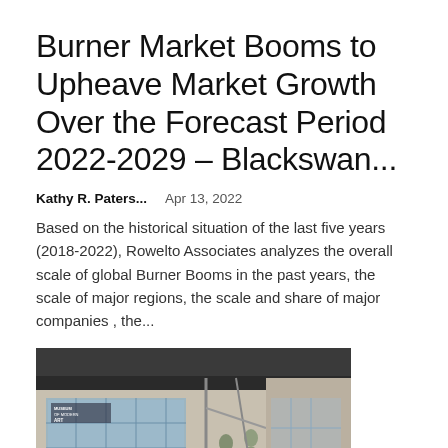Burner Market Booms to Upheave Market Growth Over the Forecast Period 2022-2029 – Blackswan...
Kathy R. Paters...   Apr 13, 2022
Based on the historical situation of the last five years (2018-2022), Rowelto Associates analyzes the overall scale of global Burner Booms in the past years, the scale of major regions, the scale and share of major companies , the...
[Figure (photo): Photograph of a building exterior with glass facade, sculptures of human figures, and a sign reading 'MUSEUM OF MODERN ART' or similar institution entrance.]